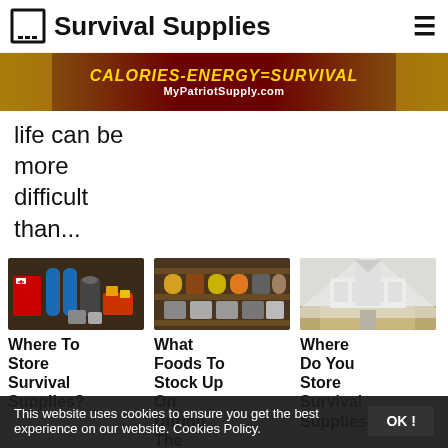Survival Supplies
[Figure (infographic): Ad banner: CALORIES-ENERGY=SURVIVAL, MyPatriotSupply.com]
life can be more difficult than...
[Figure (photo): Emergency/survival kit with first aid bag, water bottles, lantern, canned goods]
[Figure (photo): Shelves with food storage jars and cans]
[Figure (photo): Indoor storage area under stairs]
Where To Store Survival Supplies?
What Foods To Stock Up On During The
Where Do You Store Survival Supplies?
This website uses cookies to ensure you get the best experience on our website. Cookies Policy.